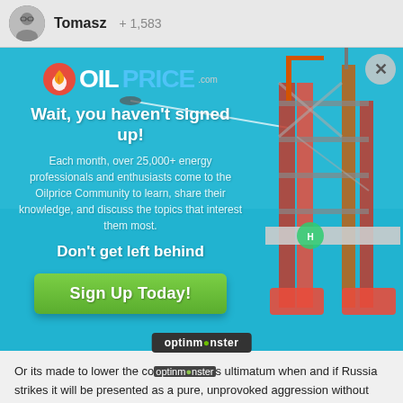Tomasz  +1,583
[Figure (screenshot): OilPrice.com modal popup with oil rig background in turquoise ocean, showing 'Wait, you haven't signed up!' headline, body text about 25,000+ energy professionals, 'Don't get left behind' subheadline, and green 'Sign Up Today!' button. Close button (X) in top right. OptinMonster badge overlaid.]
Or its made to lower the cost of Russia's ultimatum when and if Russia strikes it will be presented as a pure, unprovoked aggression without any recourse or exit door